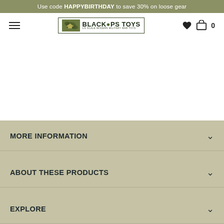Use code HAPPYBIRTHDAY to save 30% on loose gear
[Figure (logo): Black Ops Toys logo - 1/6 Scale Modern Military War Toys]
MORE INFORMATION
ABOUT THESE PRODUCTS
EXPLORE